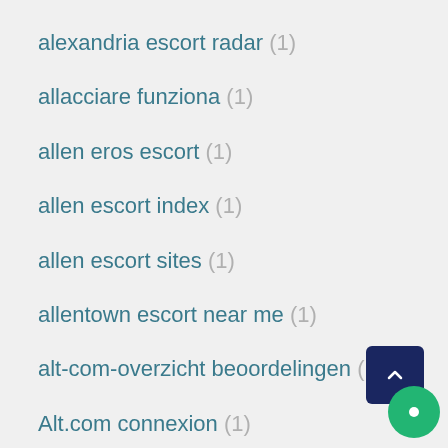alexandria escort radar (1)
allacciare funziona (1)
allen eros escort (1)
allen escort index (1)
allen escort sites (1)
allentown escort near me (1)
alt-com-overzicht beoordelingen (1)
Alt.com connexion (1)
Alt.com mobile (1)
Alt...